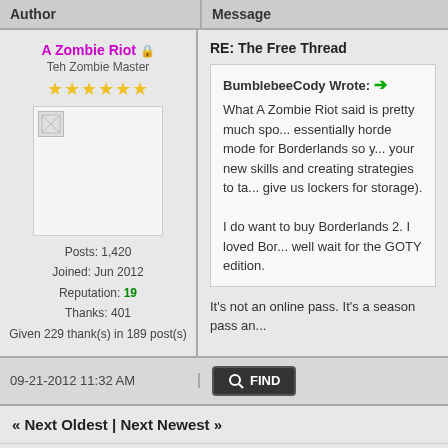Author | Message
A Zombie Riot
Teh Zombie Master
Posts: 1,420
Joined: Jun 2012
Reputation: 19
Thanks: 401
Given 229 thank(s) in 189 post(s)
RE: The Free Thread
BumblebeeCody Wrote: →
What A Zombie Riot said is pretty much spo... essentially horde mode for Borderlands so y... your new skills and creating strategies to ta... give us lockers for storage).

I do want to buy Borderlands 2. I loved Bor... well wait for the GOTY edition.

It's not an online pass. It's a season pass an...
09-21-2012 11:32 AM
« Next Oldest | Next Newest »
Messages In This Thread
The Free Thread - The Antagonist - 06-28-2012, 10:17 PM